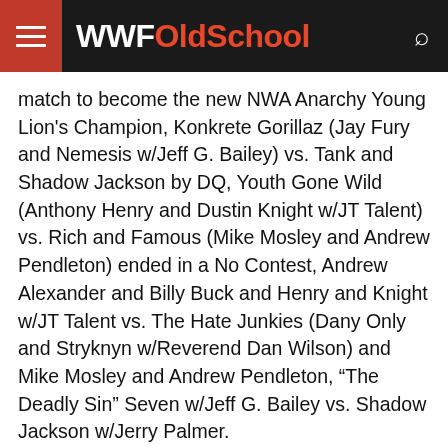WWFOldSchool
match to become the new NWA Anarchy Young Lion's Champion, Konkrete Gorillaz (Jay Fury and Nemesis w/Jeff G. Bailey) vs. Tank and Shadow Jackson by DQ, Youth Gone Wild (Anthony Henry and Dustin Knight w/JT Talent) vs. Rich and Famous (Mike Mosley and Andrew Pendleton) ended in a No Contest, Andrew Alexander and Billy Buck and Henry and Knight w/JT Talent vs. The Hate Junkies (Dany Only and Stryknyn w/Reverend Dan Wilson) and Mike Mosley and Andrew Pendleton, “The Deadly Sin” Seven w/Jeff G. Bailey vs. Shadow Jackson w/Jerry Palmer.
March 26, 2011 – NWA Anarchy – TV Tapings in Cornelia, Georgia at NWA Arena: before